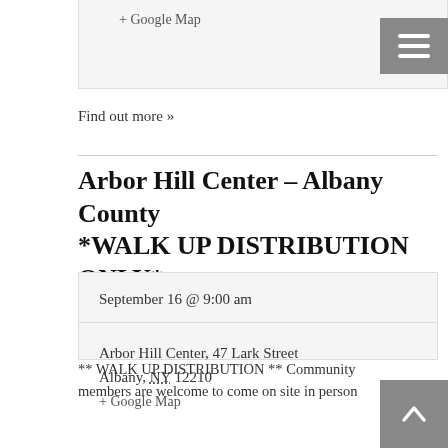+ Google Map
Find out more »
Arbor Hill Center – Albany County *WALK UP DISTRIBUTION ONLY*
September 16 @ 9:00 am
Arbor Hill Center, 47 Lark Street
Albany, NY 12210
+ Google Map
** WALK UP DISTRIBUTION ** Community members are welcome to come on site in person